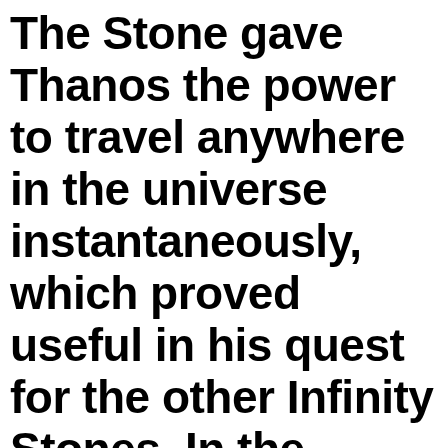The Stone gave Thanos the power to travel anywhere in the universe instantaneously, which proved useful in his quest for the other Infinity Stones. In the comics, however, Thanos acquired the